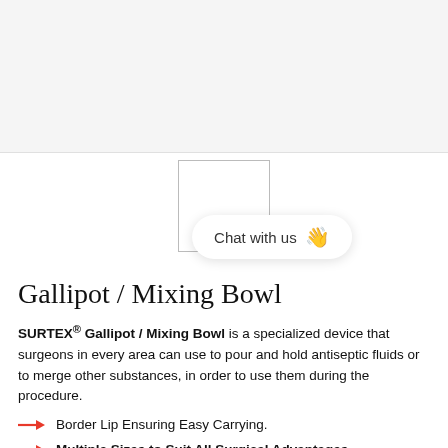[Figure (photo): Large product image area at top (light gray background), with a smaller white rectangular placeholder image below it, centered on page.]
Gallipot / Mixing Bowl
SURTEX® Gallipot / Mixing Bowl is a specialized device that surgeons in every area can use to pour and hold antiseptic fluids or to merge other substances, in order to use them during the procedure.
Border Lip Ensuring Easy Carrying.
Multiple Sizes to Suit All Surgical Advantages